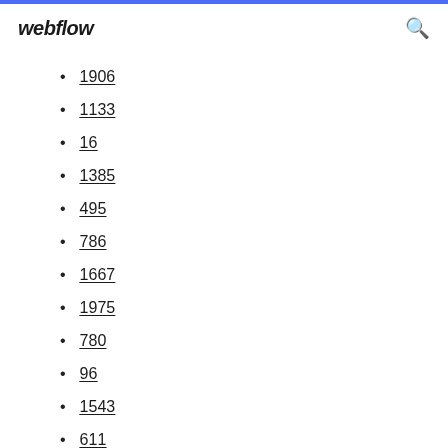webflow
1906
1133
16
1385
495
786
1667
1975
780
96
1543
611